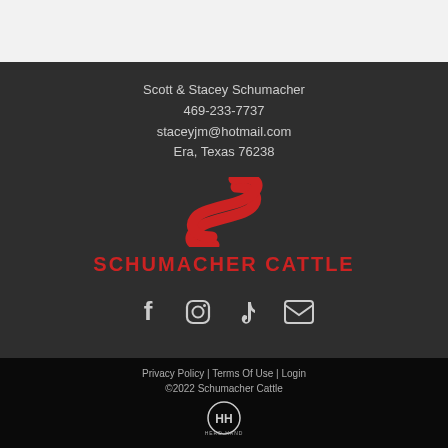Scott & Stacey Schumacher
469-233-7737
staceyjm@hotmail.com
Era, Texas 76238
[Figure (logo): Schumacher Cattle red S-curve logo above brand name SCHUMACHER CATTLE in red bold text]
[Figure (infographic): Social media icons: Facebook, Instagram, TikTok, and email envelope icons in white/light gray]
Privacy Policy | Terms Of Use | Login
©2022 Schumacher Cattle
[Figure (logo): Herd Hand circular logo with H emblem and text HERD HAND below]